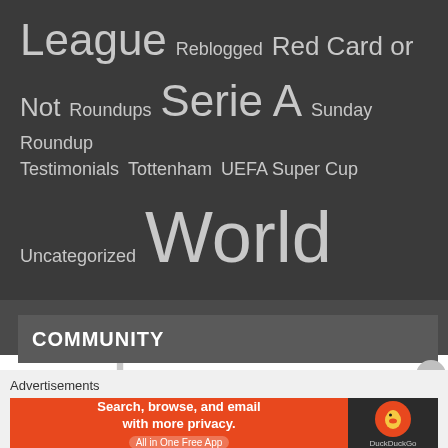[Figure (other): Tag cloud on dark background showing various football/soccer category tags in varying font sizes. Tags include: League, Reblogged, Red Card or Not, Roundups, Serie A, Sunday Roundup, Testimonials, Tottenham, UEFA Super Cup, Uncategorized, World Cup, World Cup 2014]
COMMUNITY
Advertisements
[Figure (other): DuckDuckGo advertisement banner: Search, browse, and email with more privacy. All in One Free App. Orange left panel with text, dark right panel with DuckDuckGo duck logo.]